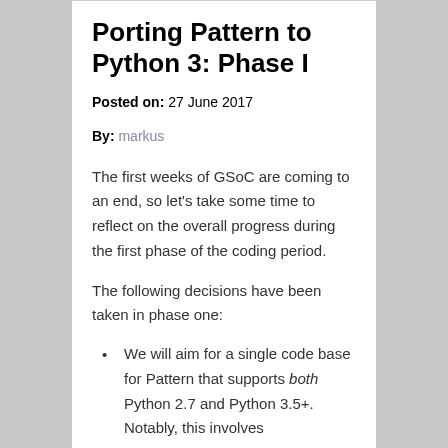Porting Pattern to Python 3: Phase I
Posted on: 27 June 2017
By: markus
The first weeks of GSoC are coming to an end, so let's take some time to reflect on the overall progress during the first phase of the coding period.
The following decisions have been taken in phase one:
We will aim for a single code base for Pattern that supports both Python 2.7 and Python 3.5+. Notably, this involves